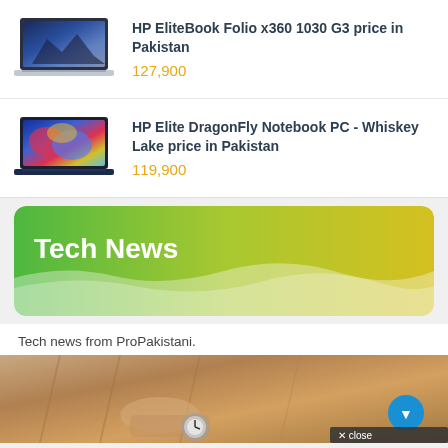HP EliteBook Folio x360 1030 G3 price in Pakistan
127,900
HP Elite DragonFly Notebook PC - Whiskey Lake price in Pakistan
119,900
[Figure (infographic): Tech News banner with green-to-yellow gradient and white wave decoration]
Tech news from ProPakistani.
[Figure (photo): Close-up photo of a person wearing a watch, beige/tan coat, partially visible]